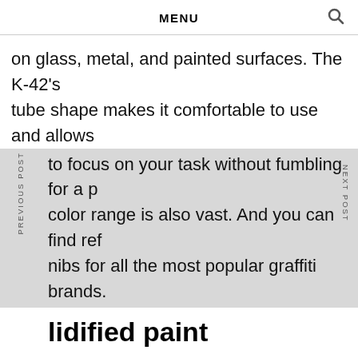MENU
on glass, metal, and painted surfaces. The K-42’s tube shape makes it comfortable to use and allows to focus on your task without fumbling for a p color range is also vast. And you can find ref nibs for all the most popular graffiti brands.
lidified paint
u’re a fan of graffiti art and need the best gra plies, look no further than the B Paintstik markers. These paints are solidified and come in six vibrant colors, from basic black to vivid shades. The markers have a wide temperature range, from -50 to 150 degrees F, and have big crayon heads that